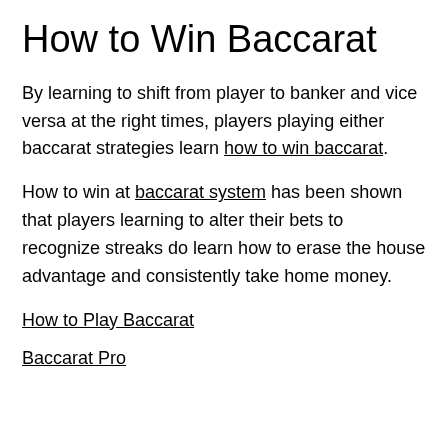How to Win Baccarat
By learning to shift from player to banker and vice versa at the right times, players playing either baccarat strategies learn how to win baccarat.
How to win at baccarat system has been shown that players learning to alter their bets to recognize streaks do learn how to erase the house advantage and consistently take home money.
How to Play Baccarat
Baccarat Pro